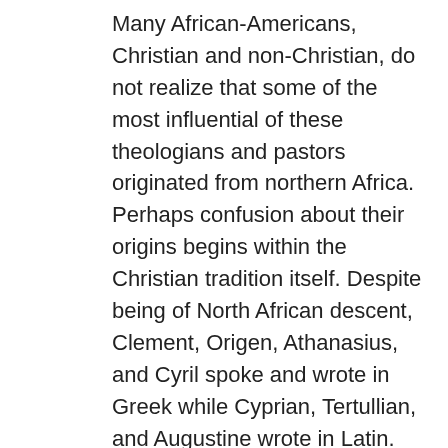Many African-Americans, Christian and non-Christian, do not realize that some of the most influential of these theologians and pastors originated from northern Africa. Perhaps confusion about their origins begins within the Christian tradition itself. Despite being of North African descent, Clement, Origen, Athanasius, and Cyril spoke and wrote in Greek while Cyprian, Tertullian, and Augustine wrote in Latin.  Hence, both the Orthodox and Roman Catholic Churches refer to them as the Greek and Latin Fathers. Moreover, in the history of medieval Catholicism, European painters depicted some of these Fathers as white European men.  Many of these paintings like Botticelli's painting of Augustine are featured in Western museums and their replicas in textbooks of church history and theology.  Despite these shortcomings, African-American Christians must